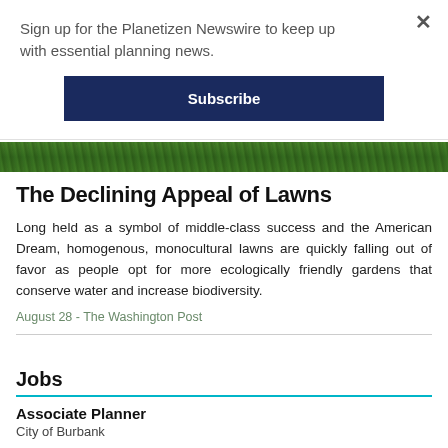Sign up for the Planetizen Newswire to keep up with essential planning news.
Subscribe
[Figure (photo): Close-up strip of green grass/lawn foliage]
The Declining Appeal of Lawns
Long held as a symbol of middle-class success and the American Dream, homogenous, monocultural lawns are quickly falling out of favor as people opt for more ecologically friendly gardens that conserve water and increase biodiversity.
August 28 - The Washington Post
Jobs
Associate Planner
City of Burbank